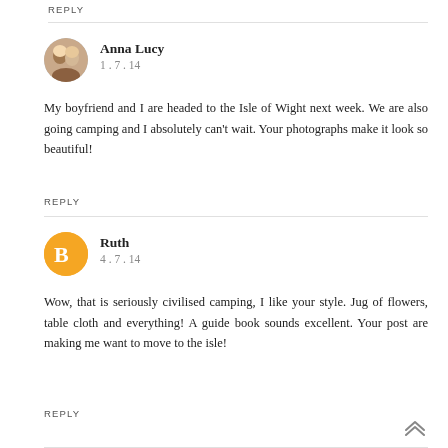REPLY
Anna Lucy
1.7.14
My boyfriend and I are headed to the Isle of Wight next week. We are also going camping and I absolutely can't wait. Your photographs make it look so beautiful!
REPLY
Ruth
4.7.14
Wow, that is seriously civilised camping, I like your style. Jug of flowers, table cloth and everything! A guide book sounds excellent. Your post are making me want to move to the isle!
REPLY